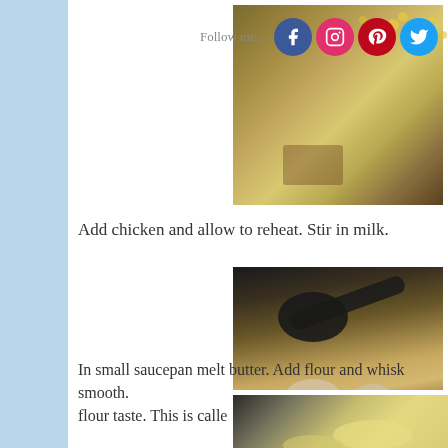Follow me...
[Figure (photo): Close-up photo of corn and beans in broth, soup cooking in a pot]
Add chicken and allow to reheat. Stir in milk.
[Figure (photo): Close-up photo of chopped chicken pieces being stirred with a spoon in soup broth with corn and beans]
In small saucepan melt butter. Add flour and whisk smooth. Cook for 2 minutes to remove flour taste. This is called a roux.
[Figure (photo): Close-up photo of a roux being made in a saucepan, smooth golden mixture]